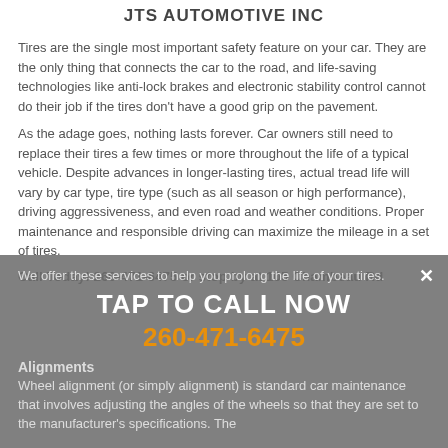JTS AUTOMOTIVE INC
Tires are the single most important safety feature on your car. They are the only thing that connects the car to the road, and life-saving technologies like anti-lock brakes and electronic stability control cannot do their job if the tires don't have a good grip on the pavement.
As the adage goes, nothing lasts forever. Car owners still need to replace their tires a few times or more throughout the life of a typical vehicle. Despite advances in longer-lasting tires, actual tread life will vary by car type, tire type (such as all season or high performance), driving aggressiveness, and even road and weather conditions. Proper maintenance and responsible driving can maximize the mileage in a set of tires.
Call Today! 260-471-6475 or stop by at 105 Chambeau Rd
[Figure (other): TAP TO CALL NOW overlay banner with phone number 260-471-6475 and close button X]
We offer these services to help you prolong the life of your tires.
Alignments
Wheel alignment (or simply alignment) is standard car maintenance that involves adjusting the angles of the wheels so that they are set to the manufacturer's specifications. The